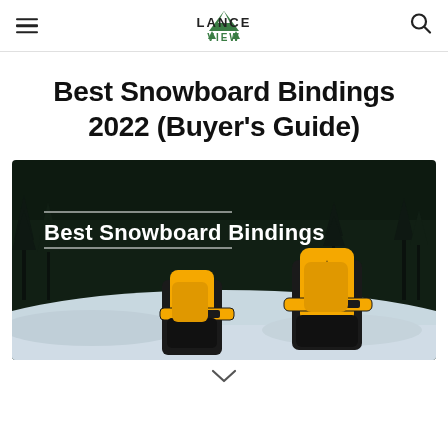Lance View logo with hamburger menu and search icon
Best Snowboard Bindings 2022 (Buyer's Guide)
[Figure (photo): Banner image with white text reading 'Best Snowboard Bindings' over a dark snowy forest background, with two yellow and black snowboard bindings visible in the lower portion of the image.]